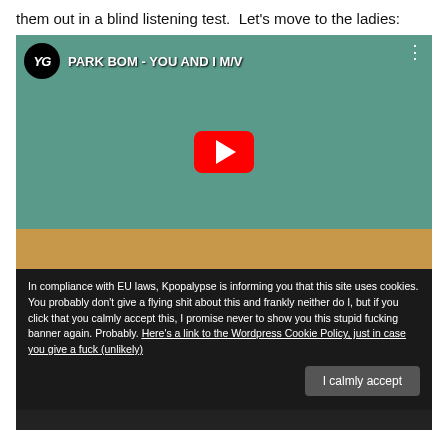them out in a blind listening test.  Let's move to the ladies:
[Figure (screenshot): YouTube video thumbnail for PARK BOM - YOU AND I M/V showing two people sitting on floor in a bedroom scene with teal walls, with YouTube play button overlay and YG Entertainment logo]
In compliance with EU laws, Kpopalypse is informing you that this site uses cookies. You probably don't give a flying shit about this and frankly neither do I, but if you click that you calmly accept this, I promise never to show you this stupid fucking banner again. Probably. Here's a link to the Wordpress Cookie Policy, just in case you give a fuck (unlikely)
I calmly accept